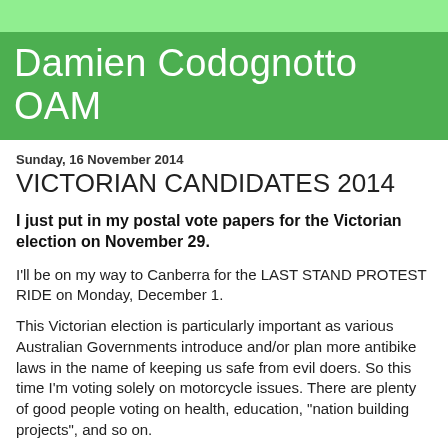Damien Codognotto OAM
Sunday, 16 November 2014
VICTORIAN CANDIDATES 2014
I just put in my postal vote papers for the Victorian election on November 29.
I'll be on my way to Canberra for the LAST STAND PROTEST RIDE on Monday, December 1.
This Victorian election is particularly important as various Australian Governments introduce and/or plan more antibike laws in the name of keeping us safe from evil doers. So this time I'm voting solely on motorcycle issues. There are plenty of good people voting on health, education, "nation building projects", and so on.